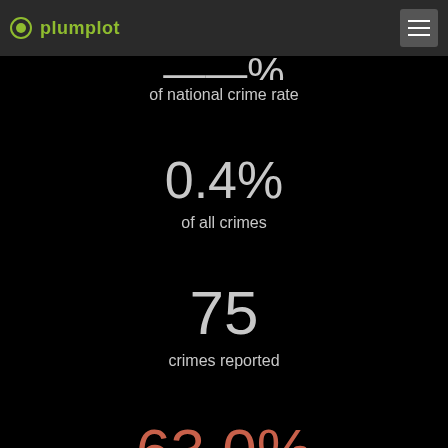plumplot
of national crime rate
0.4%
of all crimes
75
crimes reported
63.0%
annual change